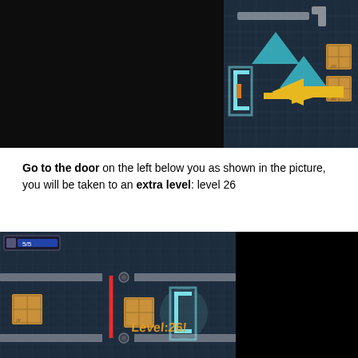[Figure (screenshot): Game screenshot showing a top-down view of a dark tiled room. A glowing cyan door is on the left side with a large yellow arrow pointing left toward it. Teal triangle shapes and wooden crates are visible on the right side on a dark blue grid floor.]
Go to the door on the left below you as shown in the picture, you will be taken to an extra level: level 26
[Figure (screenshot): Game screenshot showing level 26. A dark tiled room with a HUD showing 5/5. A vertical red laser beam runs through the center. A wooden crate sits near the laser. A glowing cyan door bracket is visible on the right side with orange text reading 'Level:26'. Gray platform bars are visible at top and bottom of the room. A small wooden crate is on the far left.]